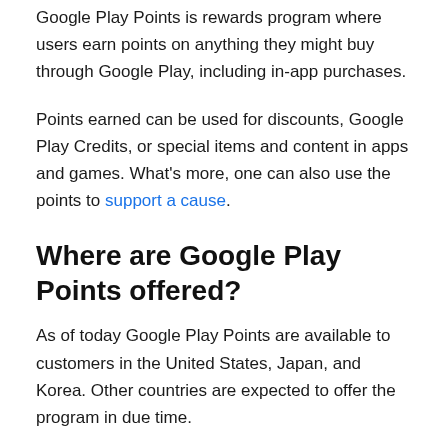Google Play Points is rewards program where users earn points on anything they might buy through Google Play, including in-app purchases.
Points earned can be used for discounts, Google Play Credits, or special items and content in apps and games. What's more, one can also use the points to support a cause.
Where are Google Play Points offered?
As of today Google Play Points are available to customers in the United States, Japan, and Korea. Other countries are expected to offer the program in due time.
How are Google Play Points calculated?
Google has four levels (Bronze, Silver, Gold, and Platinum) in